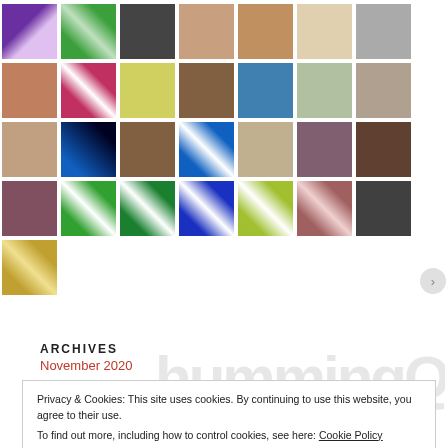[Figure (photo): Grid of profile photos and decorative pattern avatars arranged in 5 rows and 7 columns, showing various people's profile pictures and tile/quilt pattern avatars in a social network following/followers style grid.]
humming (watermark text in background)
ARCHIVES
November 2020
Privacy & Cookies: This site uses cookies. By continuing to use this website, you agree to their use.
To find out more, including how to control cookies, see here: Cookie Policy
Close and accept